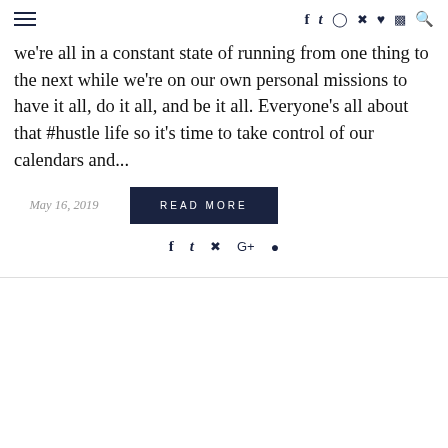≡  f  𝕥  ◉  𝗣  ♥  )))  🔍
we're all in a constant state of running from one thing to the next while we're on our own personal missions to have it all, do it all, and be it all. Everyone's all about that #hustle life so it's time to take control of our calendars and...
May 16, 2019  READ MORE
f  𝕥  𝗣  G+  💬